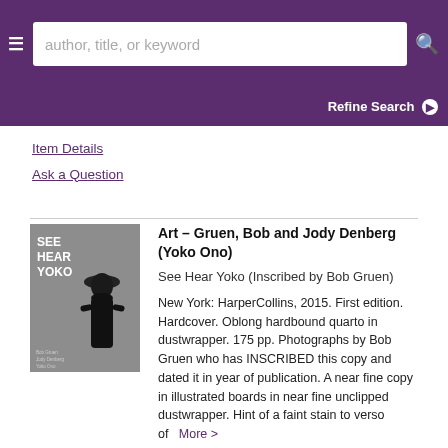author, title, or keyword
Refine Search
Item Details
Ask a Question
[Figure (photo): Book cover of 'See Hear Yoko' showing a silhouette of a person wearing a wide-brimmed hat in black and white]
Art - Gruen, Bob and Jody Denberg (Yoko Ono)
See Hear Yoko (Inscribed by Bob Gruen)
New York: HarperCollins, 2015. First edition. Hardcover. Oblong hardbound quarto in dustwrapper. 175 pp. Photographs by Bob Gruen who has INSCRIBED this copy and dated it in year of publication. A near fine copy in illustrated boards in near fine unclipped dustwrapper. Hint of a faint stain to verso of... More >